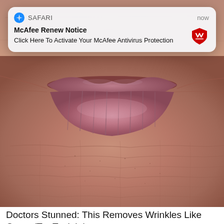[Figure (screenshot): Top partial strip of a close-up photo of aged lips/skin]
[Figure (screenshot): Safari browser notification popup: McAfee Renew Notice - Click Here To Activate Your McAfee Antivirus Protection]
[Figure (photo): Close-up photo of elderly person's wrinkled lips and lower face skin]
Doctors Stunned: This Removes Wrinkles Like Crazy (Try Tonight)
Rejuvalift
[Figure (photo): Bottom partial strip of another close-up photo]